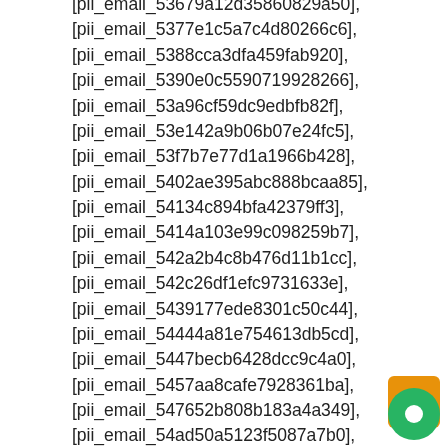[pii_email_53679a12d35860829a50],
[pii_email_5377e1c5a7c4d80266c6],
[pii_email_5388cca3dfa459fab920],
[pii_email_5390e0c5590719928266],
[pii_email_53a96cf59dc9edbfb82f],
[pii_email_53e142a9b06b07e24fc5],
[pii_email_53f7b7e77d1a1966b428],
[pii_email_5402ae395abc888bcaa85],
[pii_email_54134c894bfa42379ff3],
[pii_email_5414a103e99c098259b7],
[pii_email_542a2b4c8b476d11b1cc],
[pii_email_542c26df1efc9731633e],
[pii_email_5439177ede8301c50c44],
[pii_email_54444a81e754613db5cd],
[pii_email_5447becb6428dcc9c4a0],
[pii_email_5457aa8cafe7928361ba],
[pii_email_547652b808b183a4a349],
[pii_email_54ad50a5123f5087a7b0],
[pii_email_54c36cbe8ddd45bdefae],
[pii_email_54c8aefd6d2736bed98e],
[pii_email_54d1abfe137aa6bfbb67],